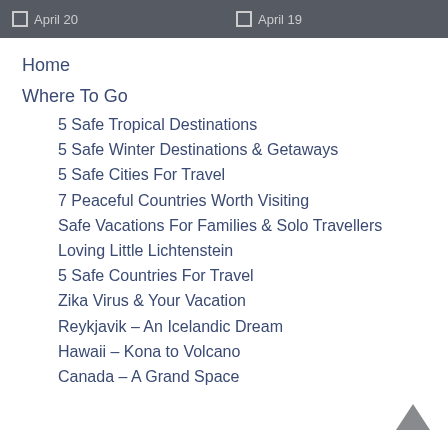April 20   April 19
Home
Where To Go
5 Safe Tropical Destinations
5 Safe Winter Destinations & Getaways
5 Safe Cities For Travel
7 Peaceful Countries Worth Visiting
Safe Vacations For Families & Solo Travellers
Loving Little Lichtenstein
5 Safe Countries For Travel
Zika Virus & Your Vacation
Reykjavik – An Icelandic Dream
Hawaii – Kona to Volcano
Canada – A Grand Space